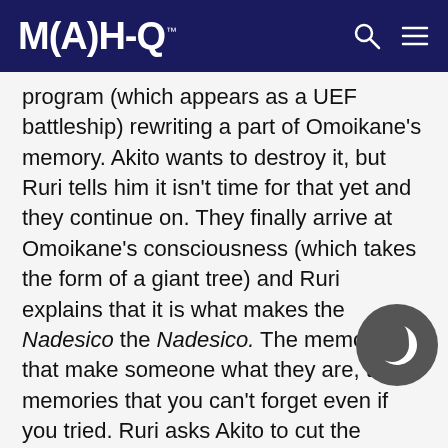MAHQ
program (which appears as a UEF battleship) rewriting a part of Omoikane's memory. Akito wants to destroy it, but Ruri tells him it isn't time for that yet and they continue on. They finally arrive at Omoikane's consciousness (which takes the form of a giant tree) and Ruri explains that it is what makes the Nadesico the Nadesico. The memories that make someone what they are, the memories that you can't forget even if you tried. Ruri asks Akito to cut the flowers (Omoikane's memories) from the top branches. Though it seems cruel, they will eventually grow back, allowing the Nadesico to remain the Nadesico. She asks that Omoikane please pretend to follow the UEF's orders for now. Ak goes about cutting the flowers, but is soon att by a strange force. Uribatake explains that this is